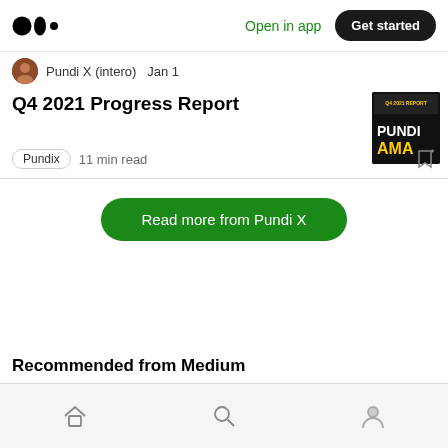Open in app  Get started
Pundi X (intero)  Jan 1
Q4 2021 Progress Report
Pundix  11 min read
Read more from Pundi X
Recommended from Medium
Home  Search  Profile